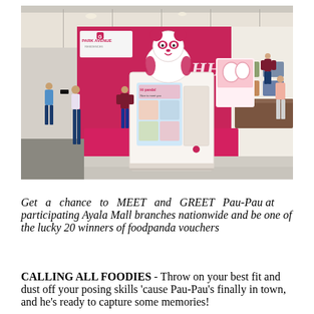[Figure (photo): Indoor mall photo showing a large pink and white vending machine or kiosk with a cartoon panda mascot on top, set on a hot-pink raised platform. A staff member in a maroon shirt interacts with the machine. Several visitors including children look at the kiosk. A hot-pink backdrop with 'YEAHHH' text and 'PARK AVENUE' signage is visible in the background. Another branded display is visible to the right.]
Get a chance to MEET and GREET Pau-Pau at participating Ayala Mall branches nationwide and be one of the lucky 20 winners of foodpanda vouchers
CALLING ALL FOODIES - Throw on your best fit and dust off your posing skills 'cause Pau-Pau's finally in town, and he's ready to capture some memories!